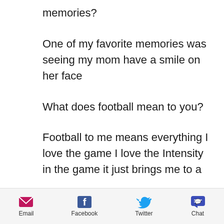memories?
One of my favorite memories was seeing my mom have a smile on her face
What does football mean to you?
Football to me means everything I love the game I love the Intensity in the game it just brings me to a
Email  Facebook  Twitter  Chat